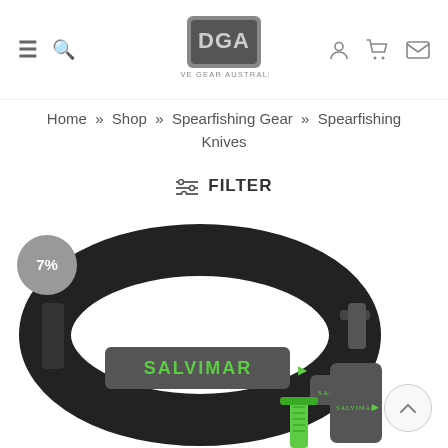Dive Gear Australia — Navigation header with hamburger menu, search, logo, user, cart, mail icons
Home » Shop » Spearfishing Gear » Spearfishing Knives
≡ FILTER
[Figure (photo): Product photo showing a black Salvimar arm band/strap with green logo text and a Salvimar knife handle with green grip, on white background. A grey circular badge showing '7%' is overlaid on the top-left.]